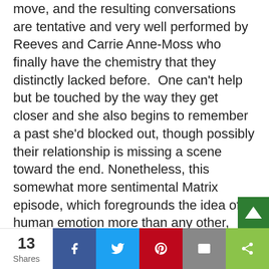move, and the resulting conversations are tentative and very well performed by Reeves and Carrie Anne-Moss who finally have the chemistry that they distinctly lacked before.  One can't help but be touched by the way they get closer and she also begins to remember a past she'd blocked out, though possibly their relationship is missing a scene toward the end. Nonetheless, this somewhat more sentimental Matrix episode, which foregrounds the idea of human emotion more than any other, certainly has the heart that some may say the others lacked. It also begins to subvert the concept of The One, something that will probably be developed in the sequels. Lana has mentioned about femininity. I trust her to do this without sinking into the lazy misandry that far too many other productions seem to think is cool and trendy.
Sadly there's no Don Davis around to do the music sco...
13 Shares | Facebook | Twitter | Pinterest | Email | Share